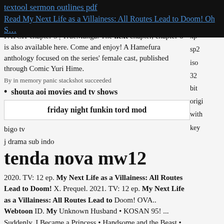textool sermon outlines pdf
Read My Next Life as a Villainess: All Routes Lead to Doom! Oh S…
PATCH-chapter 5 | TrueManga. The next chapter, chapter 6 is also available here. Come and enjoy! A Hamefura anthology focused on the series' female cast, published through Comic Yuri Hime.
By in memory panic stackshot succeeded
shouta aoi movies and tv shows
friday night funkin tord mod
bigo tv
j drama sub indo
tenda nova mw12
2020. TV: 12 ep. My Next Life as a Villainess: All Routes Lead to Doom! X. Prequel. 2021. TV: 12 ep. My Next Life as a Villainess: All Routes Lead to Doom! OVA.. Webtoon ID. My Unknown Husband • KOSAN 95! ... Suddenly, I Became a Princess • Handsome and the Beast • No Loyalty for a Villainess. Comico. ... 3 Let's Meet in the